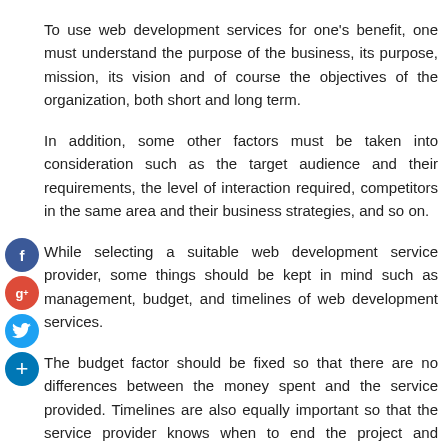To use web development services for one's benefit, one must understand the purpose of the business, its purpose, mission, its vision and of course the objectives of the organization, both short and long term.
In addition, some other factors must be taken into consideration such as the target audience and their requirements, the level of interaction required, competitors in the same area and their business strategies, and so on.
While selecting a suitable web development service provider, some things should be kept in mind such as management, budget, and timelines of web development services.
The budget factor should be fixed so that there are no differences between the money spent and the service provided. Timelines are also equally important so that the service provider knows when to end the project and prepares the user.
A good web design service provider should integrate communication channels with web-hosted web content should